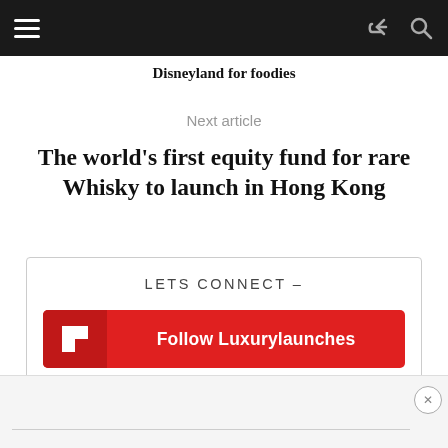Disneyland for foodies
Next article
The world's first equity fund for rare Whisky to launch in Hong Kong
LETS CONNECT –
[Figure (logo): Flipboard Follow button - red background with white Flipboard icon and text 'Follow Luxurylaunches']
[Figure (logo): Google News Follow On button - white rounded rectangle with Google News logo and text 'FOLLOW ON Google News']